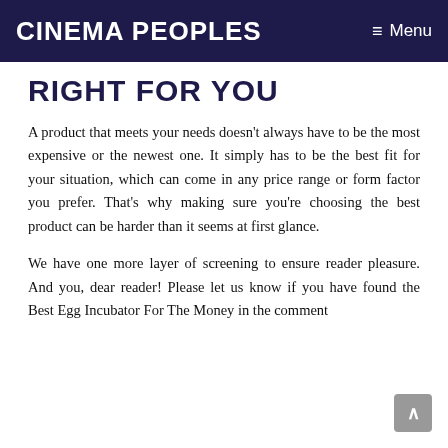Cinema Peoples   ≡ Menu
RIGHT FOR YOU
A product that meets your needs doesn't always have to be the most expensive or the newest one. It simply has to be the best fit for your situation, which can come in any price range or form factor you prefer. That's why making sure you're choosing the best product can be harder than it seems at first glance.
We have one more layer of screening to ensure reader pleasure. And you, dear reader! Please let us know if you have found the Best Egg Incubator For The Money in the comment